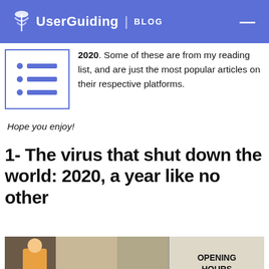UserGuiding | BLOG
2020. Some of these are from my reading list, and are just the most popular articles on their respective platforms.
Hope you enjoy!
1- The virus that shut down the world: 2020, a year like no other
[Figure (photo): Photo of a storefront with a sign reading OPENING HOURS MON: CLOSED]